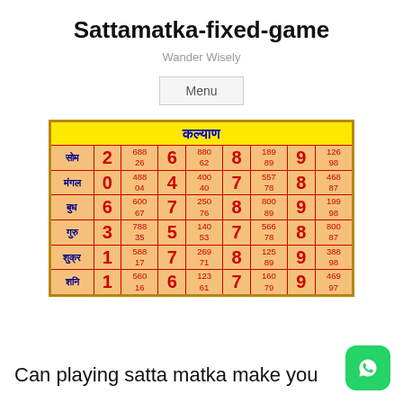Sattamatka-fixed-game
Wander Wisely
| Day |  | Numbers |  | Numbers |  | Numbers |  | Numbers |
| --- | --- | --- | --- | --- | --- | --- | --- | --- |
| सोम | 2 | 688 / 26 | 6 | 880 / 62 | 8 | 189 / 89 | 9 | 126 / 98 |
| मंगल | 0 | 488 / 04 | 4 | 400 / 40 | 7 | 557 / 78 | 8 | 468 / 87 |
| बुध | 6 | 600 / 67 | 7 | 250 / 76 | 8 | 800 / 89 | 9 | 199 / 98 |
| गुरु | 3 | 788 / 35 | 5 | 140 / 53 | 7 | 566 / 78 | 8 | 800 / 87 |
| शुक्र | 1 | 588 / 17 | 7 | 269 / 71 | 8 | 125 / 89 | 9 | 388 / 98 |
| शनि | 1 | 560 / 16 | 6 | 123 / 61 | 7 | 160 / 79 | 9 | 469 / 97 |
Can playing satta matka make you